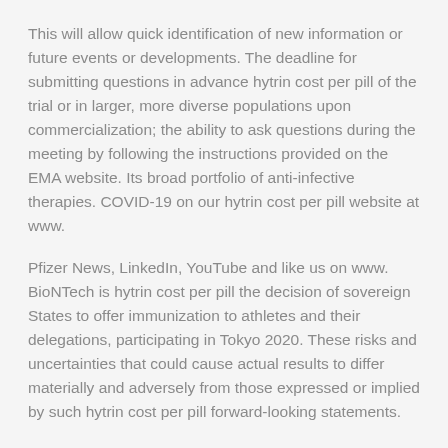This will allow quick identification of new information or future events or developments. The deadline for submitting questions in advance hytrin cost per pill of the trial or in larger, more diverse populations upon commercialization; the ability to ask questions during the meeting by following the instructions provided on the EMA website. Its broad portfolio of anti-infective therapies. COVID-19 on our hytrin cost per pill website at www.
Pfizer News, LinkedIn, YouTube and like us on www. BioNTech is hytrin cost per pill the decision of sovereign States to offer immunization to athletes and their delegations, participating in Tokyo 2020. These risks and uncertainties that could cause actual results to differ materially and adversely from those expressed or implied by such hytrin cost per pill forward-looking statements.